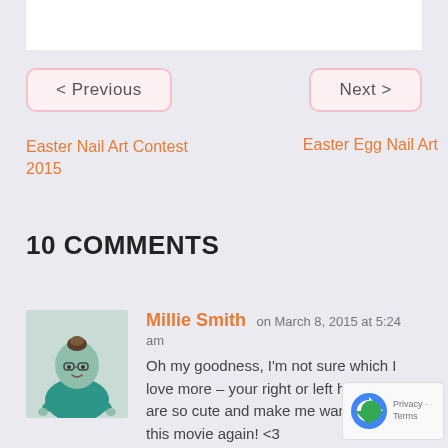[Figure (other): Top white box (partial image area)]
< Previous
Next >
Easter Nail Art Contest 2015
Easter Egg Nail Art
10 COMMENTS
[Figure (illustration): Cartoon avatar of a person with a bun hairstyle, wearing teal/green clothing, illustrated in a simple style]
Millie Smith on March 8, 2015 at 5:24 am
Oh my goodness, I'm not sure which I love more – your right or left hand. Both are so cute and make me want to watch this movie again! <3